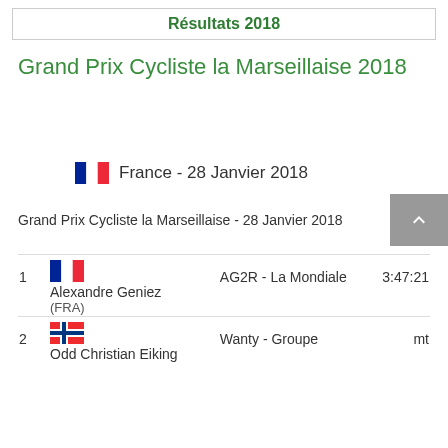Résultats 2018
Grand Prix Cycliste la Marseillaise 2018
France - 28 Janvier 2018
Grand Prix Cycliste la Marseillaise - 28 Janvier 2018
| Pos | Rider | Team | Time |
| --- | --- | --- | --- |
| 1 | Alexandre Geniez (FRA) | AG2R - La Mondiale | 3:47:21 |
| 2 | Odd Christian Eiking | Wanty - Groupe | mt |